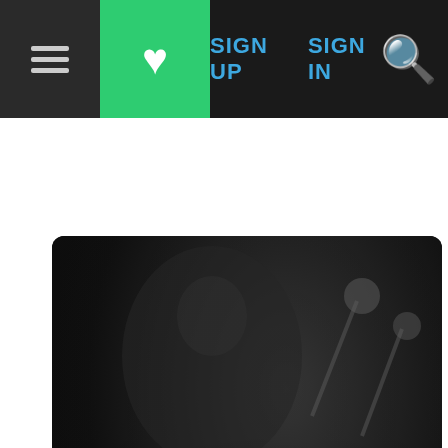Navigation bar with menu, favorites, SIGN UP, SIGN IN, search
[Figure (photo): Tom Collier, vibraphone player, artist banner with dark background, name and instrument label, home/bandcamp/favorites icons]
JAZZ MENAGERIE
[Figure (screenshot): Music player bar showing Jazz Menagerie on All About Jazz with Spotify button and playback controls]